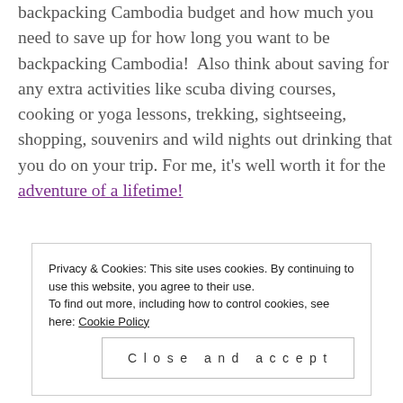backpacking Cambodia budget and how much you need to save up for how long you want to be backpacking Cambodia!  Also think about saving for any extra activities like scuba diving courses, cooking or yoga lessons, trekking, sightseeing, shopping, souvenirs and wild nights out drinking that you do on your trip. For me, it's well worth it for the adventure of a lifetime!
Privacy & Cookies: This site uses cookies. By continuing to use this website, you agree to their use. To find out more, including how to control cookies, see here: Cookie Policy